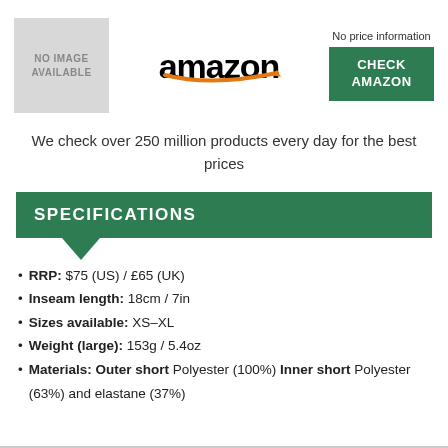[Figure (logo): Grey box with text NO IMAGE AVAILABLE]
[Figure (logo): Amazon logo with orange swoosh arrow]
No price information
[Figure (other): Green button with text CHECK AMAZON]
We check over 250 million products every day for the best prices
SPECIFICATIONS
RRP: $75 (US) / £65 (UK)
Inseam length: 18cm / 7in
Sizes available: XS–XL
Weight (large): 153g / 5.4oz
Materials: Outer short Polyester (100%) Inner short Polyester (63%) and elastane (37%)